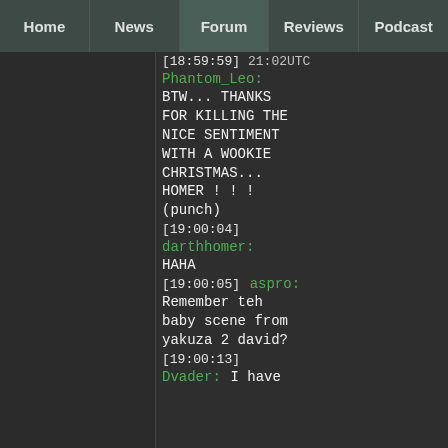Home | News | Forum | Reviews | Podcast
[18:59:59] 21:02UTC
Phantom_Leo:
BTW... THANKS FOR KILLING THE NICE SENTIMENT WITH A WOOKIE CHRISTMAS... HOMER ! ! ! (punch)
[19:00:04]
darthhomer:
HAHA
[19:00:05] aspro:
Remember teh baby scene from yakuza 2 david?
[19:00:13]
Dvader: I have